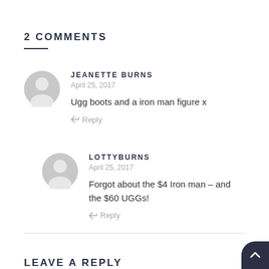2 COMMENTS
JEANETTE BURNS
April 25, 2017
Ugg boots and a iron man figure x
Reply
LOTTYBURNS
April 25, 2017
Forgot about the $4 Iron man – and the $60 UGGs!
Reply
LEAVE A REPLY